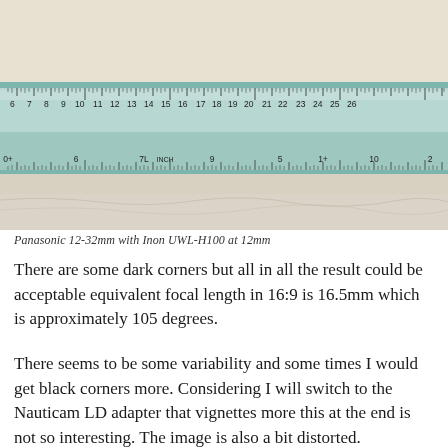[Figure (photo): A transparent/teal plastic ruler photographed close-up on a light surface. The ruler shows centimeter and millimeter markings, with numbers visible from approximately 5 to 26 on the top scale and reversed/mirrored numbers on the bottom scale. The ruler appears slightly curved.]
Panasonic 12-32mm with Inon UWL-H100 at 12mm
There are some dark corners but all in all the result could be acceptable equivalent focal length in 16:9 is 16.5mm which is approximately 105 degrees.
There seems to be some variability and some times I would get black corners more. Considering I will switch to the Nauticam LD adapter that vignettes more this at the end is not so interesting. The image is also a bit distorted.